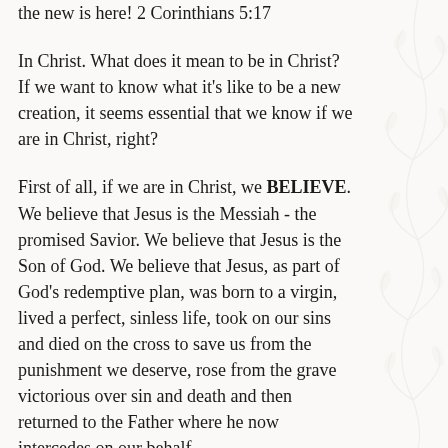the new is here!  2 Corinthians 5:17
In Christ. What does it mean to be in Christ?  If we want to know what it's like to be a new creation, it seems essential that we know if we are in Christ, right?
First of all, if we are in Christ, we BELIEVE. We believe that Jesus is the Messiah - the promised Savior.  We believe that Jesus is the Son of God.  We believe that Jesus, as part of God's redemptive plan, was born to a virgin, lived a perfect, sinless life, took on our sins and died on the cross to save us from the punishment we deserve, rose from the grave victorious over sin and death and then returned to the Father where he now intercedes on our behalf.